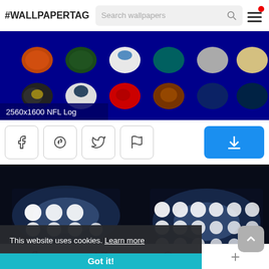#WALLPAPERTAG | Search wallpapers
[Figure (screenshot): NFL helmets wallpaper thumbnail on dark blue background with label '2560x1600 NFL Log']
2560x1600 NFL Log
[Figure (screenshot): Social share buttons: Facebook, Pinterest, Twitter, Flag/Report icons and a blue download button]
[Figure (photo): Stadium floodlights at night on dark background]
This website uses cookies. Learn more
Got it!
Facebook | Twitter | Pinterest | Plus